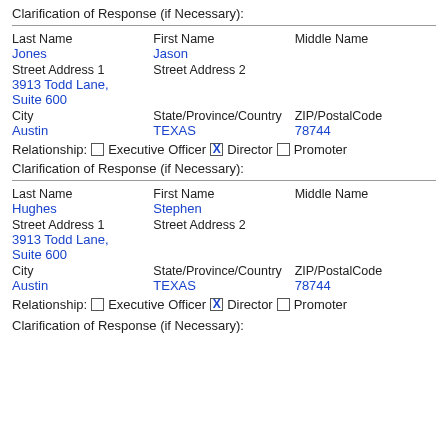Clarification of Response (if Necessary):
| Last Name | First Name | Middle Name |
| --- | --- | --- |
| Jones | Jason |  |
| Street Address 1 | Street Address 2 |  |
| 3913 Todd Lane, Suite 600 |  |  |
| City | State/Province/Country | ZIP/PostalCode |
| Austin | TEXAS | 78744 |
Relationship: [ ] Executive Officer [X] Director [ ] Promoter
Clarification of Response (if Necessary):
| Last Name | First Name | Middle Name |
| --- | --- | --- |
| Hughes | Stephen |  |
| Street Address 1 | Street Address 2 |  |
| 3913 Todd Lane, Suite 600 |  |  |
| City | State/Province/Country | ZIP/PostalCode |
| Austin | TEXAS | 78744 |
Relationship: [ ] Executive Officer [X] Director [ ] Promoter
Clarification of Response (if Necessary):